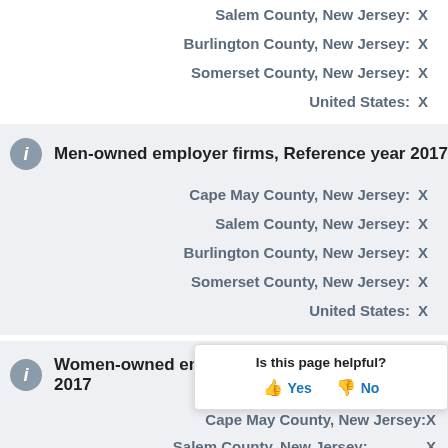Salem County, New Jersey: X
Burlington County, New Jersey: X
Somerset County, New Jersey: X
United States: X
Men-owned employer firms, Reference year 2017
Cape May County, New Jersey: X
Salem County, New Jersey: X
Burlington County, New Jersey: X
Somerset County, New Jersey: X
United States: X
Women-owned employer firms, Reference year 2017
Cape May County, New Jersey: X
Salem County, New Jersey: X
Burlington County, New Jersey: X
Is this page helpful? Yes No